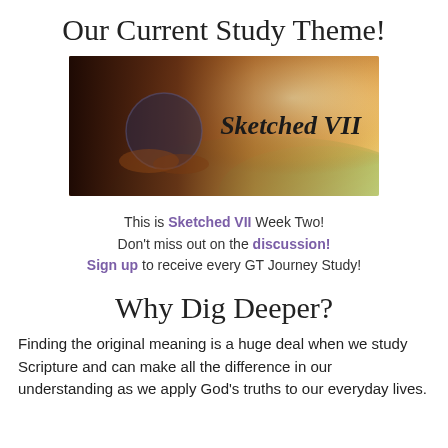Our Current Study Theme!
[Figure (photo): Banner image showing hands holding a globe or object with warm sunlight, labeled 'Sketched VII' in script text on the right side]
This is Sketched VII Week Two! Don't miss out on the discussion! Sign up to receive every GT Journey Study!
Why Dig Deeper?
Finding the original meaning is a huge deal when we study Scripture and can make all the difference in our understanding as we apply God's truths to our everyday lives.